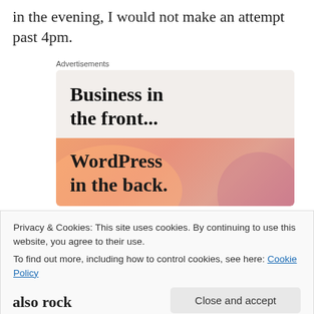in the evening, I would not make an attempt past 4pm.
[Figure (infographic): WordPress advertisement banner. Top section on light beige background reads 'Business in the front...' in bold serif. Bottom section on orange/pink gradient background reads 'WordPress in the back.' in bold serif.]
Advertisements
Privacy & Cookies: This site uses cookies. By continuing to use this website, you agree to their use.
To find out more, including how to control cookies, see here: Cookie Policy
also rock